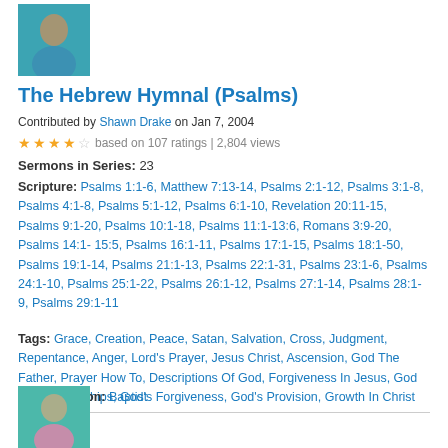[Figure (photo): Profile photo of a man in a teal shirt]
The Hebrew Hymnal (Psalms)
Contributed by Shawn Drake on Jan 7, 2004
★★★✩ based on 107 ratings | 2,804 views
Sermons in Series: 23
Scripture: Psalms 1:1-6, Matthew 7:13-14, Psalms 2:1-12, Psalms 3:1-8, Psalms 4:1-8, Psalms 5:1-12, Psalms 6:1-10, Revelation 20:11-15, Psalms 9:1-20, Psalms 10:1-18, Psalms 11:1-13:6, Romans 3:9-20, Psalms 14:1-15:5, Psalms 16:1-11, Psalms 17:1-15, Psalms 18:1-50, Psalms 19:1-14, Psalms 21:1-13, Psalms 22:1-31, Psalms 23:1-6, Psalms 24:1-10, Psalms 25:1-22, Psalms 26:1-12, Psalms 27:1-14, Psalms 28:1-9, Psalms 29:1-11
Tags: Grace, Creation, Peace, Satan, Salvation, Cross, Judgment, Repentance, Anger, Lord's Prayer, Jesus Christ, Ascension, God The Father, Prayer How To, Descriptions Of God, Forgiveness In Jesus, God In The Hardships, God's Forgiveness, God's Provision, Growth In Christ
Denomination: Baptist
[Figure (photo): Profile photo of a person at the bottom of the page]